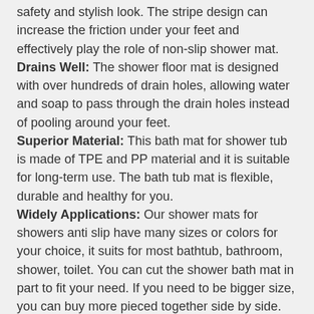safety and stylish look. The stripe design can increase the friction under your feet and effectively play the role of non-slip shower mat. Drains Well: The shower floor mat is designed with over hundreds of drain holes, allowing water and soap to pass through the drain holes instead of pooling around your feet. Superior Material: This bath mat for shower tub is made of TPE and PP material and it is suitable for long-term use. The bath tub mat is flexible, durable and healthy for you. Widely Applications: Our shower mats for showers anti slip have many sizes or colors for your choice, it suits for most bathtub, bathroom, shower, toilet. You can cut the shower bath mat in part to fit your need. If you need to be bigger size, you can buy more pieced together side by side.